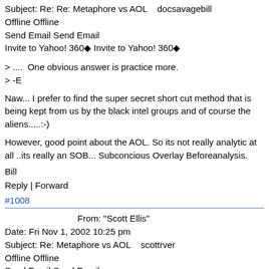Subject: Re: Re: Metaphore vs AOL    docsavagebill
Offline Offline
Send Email Send Email
Invite to Yahoo! 360◆ Invite to Yahoo! 360◆
> ....  One obvious answer is practice more.
> -E
Naw... I prefer to find the super secret short cut method that is being kept from us by the black intel groups and of course the aliens.....:-)
However, good point about the AOL. So its not really analytic at all ..its really an SOB... Subconcious Overlay Beforeanalysis.
Bill
Reply | Forward
#1008
From: "Scott Ellis"
Date: Fri Nov 1, 2002 10:25 pm
Subject: Re: Metaphore vs AOL    scottrver
Offline Offline
Send Email Send Email